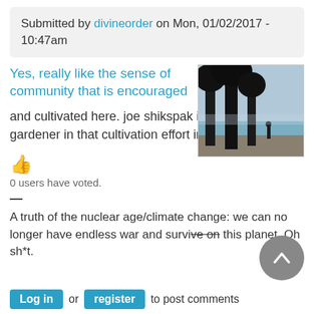Submitted by divineorder on Mon, 01/02/2017 - 10:47am
Yes, really like the sense of community that is encouraged
[Figure (photo): Outdoor coastal scene with silhouettes of trees and a person on a beach with ocean in the background]
and cultivated here. joe shikspak is the head gardener in that cultivation effort imo.
[Figure (other): Thumbs up emoji icon in orange/yellow color]
0 users have voted.
—
A truth of the nuclear age/climate change: we can no longer have endless war and survive on this planet. Oh sh*t.
Log in or register to post comments